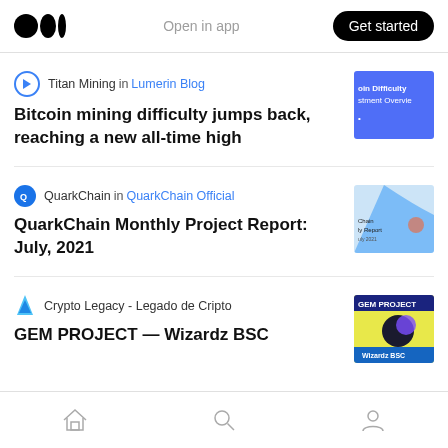Open in app | Get started
Titan Mining in Lumerin Blog
Bitcoin mining difficulty jumps back, reaching a new all-time high
QuarkChain in QuarkChain Official
QuarkChain Monthly Project Report: July, 2021
Crypto Legacy - Legado de Cripto
GEM PROJECT — Wizardz BSC
Home | Search | Profile